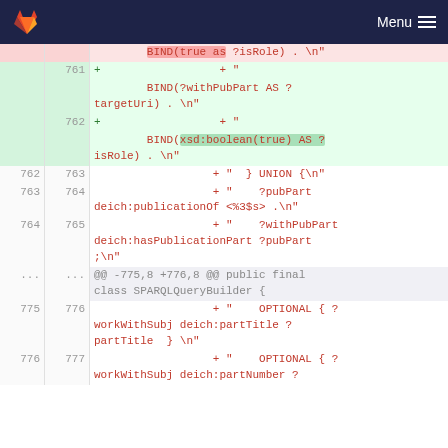Menu
[Figure (screenshot): GitLab code diff view showing changes to SPARQLQueryBuilder class, lines 761-777, with added lines in green and context lines in white]
| old | new | code |
| --- | --- | --- |
|  |  | BIND(true as ?isRole) . \n" |
|  | 761 | + " |
|  |  | BIND(?withPubPart AS ?targetUri) . \n" |
|  | 762 | + " |
|  |  | BIND(xsd:boolean(true) AS ?isRole) . \n" |
| 762 | 763 | + "  } UNION {\n" |
| 763 | 764 | + "    ?pubPart deich:publicationOf <%3$s> .\n" |
| 764 | 765 | + "    ?withPubPart deich:hasPublicationPart ?pubPart ;\n" |
| ... | ... | @@ -775,8 +776,8 @@ public final class SPARQLQueryBuilder { |
| 775 | 776 | + "    OPTIONAL { ?workWithSubj deich:partTitle ?partTitle  } \n" |
| 776 | 777 | + "    OPTIONAL { ?workWithSubj deich:partNumber ? |